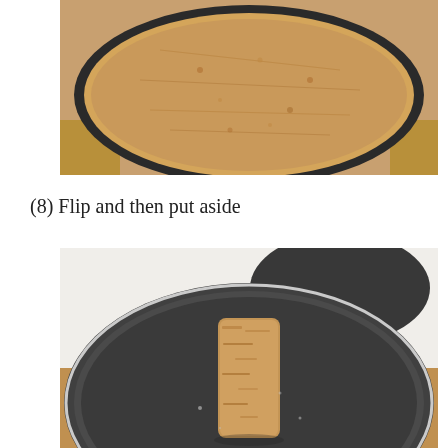[Figure (photo): Top-down view of a dark round plate or tray filled with golden breadcrumbs, on a wooden surface]
(8) Flip and then put aside
[Figure (photo): A breadcrumb-coated piece of food (chicken or fish strip) placed on a dark round plate on a wooden surface, with another plate of breadcrumbs visible in the background]